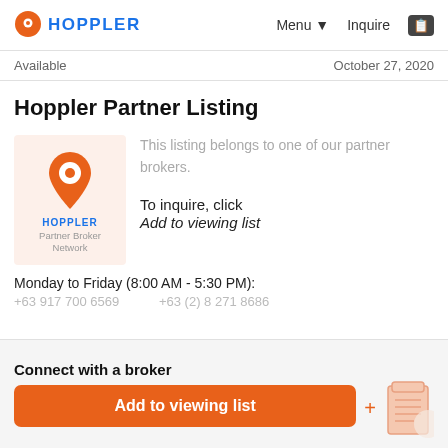HOPPLER   Menu   Inquire
Available   October 27, 2020
Hoppler Partner Listing
[Figure (logo): Hoppler logo with map pin icon in orange, text HOPPLER in blue, Partner Broker Network below]
This listing belongs to one of our partner brokers.

To inquire, click
Add to viewing list
Monday to Friday (8:00 AM - 5:30 PM):
+63 917 700 6569   +63 (2) 8 271 8686
Connect with a broker   Add to viewing list